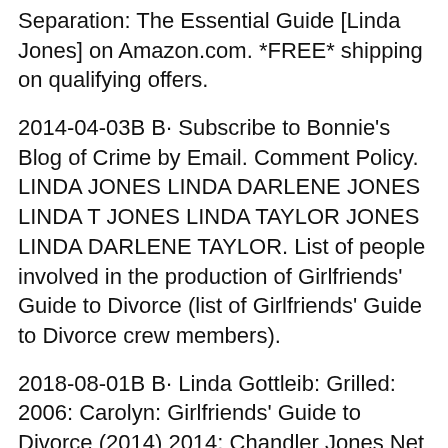Separation: The Essential Guide [Linda Jones] on Amazon.com. *FREE* shipping on qualifying offers.
2014-04-03B B· Subscribe to Bonnie's Blog of Crime by Email. Comment Policy. LINDA JONES LINDA DARLENE JONES LINDA T JONES LINDA TAYLOR JONES LINDA DARLENE TAYLOR. List of people involved in the production of Girlfriends' Guide to Divorce (list of Girlfriends' Guide to Divorce crew members).
2018-08-01B B· Linda Gottleib: Grilled: 2006: Carolyn: Girlfriends' Guide to Divorce (2014) 2014: Chandler Jones Net Worth. 1 week ago. 90 . Divorce and Separation: The Essential Guide